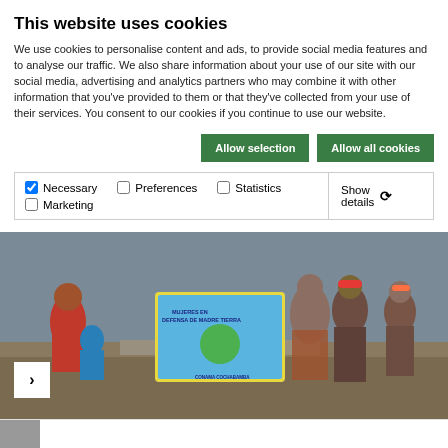This website uses cookies
We use cookies to personalise content and ads, to provide social media features and to analyse our traffic. We also share information about your use of our site with our social media, advertising and analytics partners who may combine it with other information that you've provided to them or that they've collected from your use of their services. You consent to our cookies if you continue to use our website.
Allow selection | Allow all cookies
✓ Necessary  ☐ Preferences  ☐ Statistics  ☐ Marketing  Show details ▾
[Figure (photo): Group of indigenous women and children outdoors in a rural landscape holding a banner with text about land rights. Some wear traditional Andean clothing.]